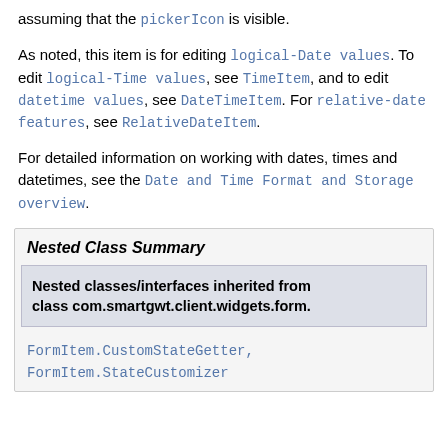assuming that the pickerIcon is visible.
As noted, this item is for editing logical-Date values. To edit logical-Time values, see TimeItem, and to edit datetime values, see DateTimeItem. For relative-date features, see RelativeDateItem.
For detailed information on working with dates, times and datetimes, see the Date and Time Format and Storage overview.
Nested Class Summary
| Nested classes/interfaces inherited from class com.smartgwt.client.widgets.form. |
| FormItem.CustomStateGetter, FormItem.StateCustomizer |